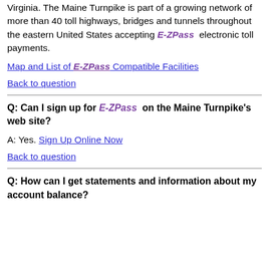Virginia. The Maine Turnpike is part of a growing network of more than 40 toll highways, bridges and tunnels throughout the eastern United States accepting E-ZPass electronic toll payments.
Map and List of E-ZPass Compatible Facilities
Back to question
Q: Can I sign up for E-ZPass on the Maine Turnpike's web site?
A: Yes. Sign Up Online Now
Back to question
Q: How can I get statements and information about my account balance?